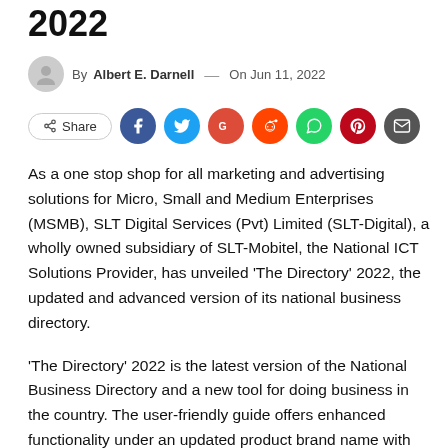2022
By Albert E. Darnell — On Jun 11, 2022
[Figure (infographic): Share button and social media icons: Facebook (blue), Twitter (cyan), Google+ (red-orange), Reddit (orange-red), WhatsApp (green), Pinterest (dark red), Email (dark grey)]
As a one stop shop for all marketing and advertising solutions for Micro, Small and Medium Enterprises (MSMB), SLT Digital Services (Pvt) Limited (SLT-Digital), a wholly owned subsidiary of SLT-Mobitel, the National ICT Solutions Provider, has unveiled 'The Directory' 2022, the updated and advanced version of its national business directory.
'The Directory' 2022 is the latest version of the National Business Directory and a new tool for doing business in the country. The user-friendly guide offers enhanced functionality under an updated product brand name with the primary objective of creating additional value for existing and potential customers and registered vendors. 'TheDirectory' also offers its